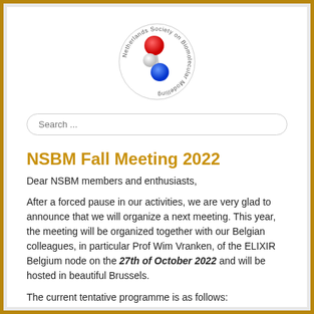[Figure (logo): Netherlands Society on Biomolecular Modelling circular logo with red, white, and blue spheres connected by sticks]
NSBM Fall Meeting 2022
Dear NSBM members and enthusiasts,
After a forced pause in our activities, we are very glad to announce that we will organize a next meeting. This year, the meeting will be organized together with our Belgian colleagues, in particular Prof Wim Vranken, of the ELIXIR Belgium node on the 27th of October 2022 and will be hosted in beautiful Brussels.
The current tentative programme is as follows: